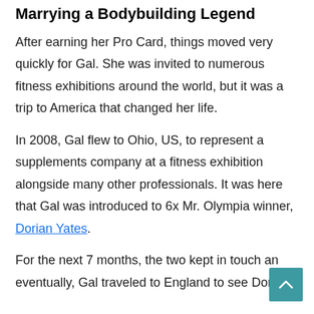Marrying a Bodybuilding Legend
After earning her Pro Card, things moved very quickly for Gal. She was invited to numerous fitness exhibitions around the world, but it was a trip to America that changed her life.
In 2008, Gal flew to Ohio, US, to represent a supplements company at a fitness exhibition alongside many other professionals. It was here that Gal was introduced to 6x Mr. Olympia winner, Dorian Yates.
For the next 7 months, the two kept in touch and eventually, Gal traveled to England to see Dorian